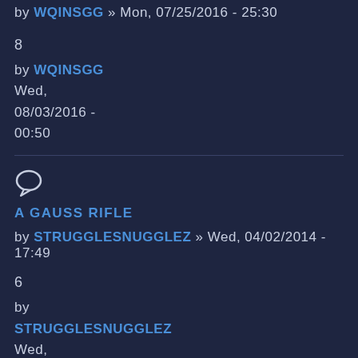by WQINSGG » Mon, 07/25/2016 - 25:30
8
by WQINSGG
Wed,
08/03/2016 -
00:50
[Figure (illustration): Speech bubble / comment icon]
A GAUSS RIFLE
by STRUGGLESNUGGLEZ » Wed, 04/02/2014 - 17:49
6
by
STRUGGLESNUGGLEZ
Wed,
04/16/2014 -
23:51
[Figure (illustration): Speech bubble / comment icon (partial, at bottom)]